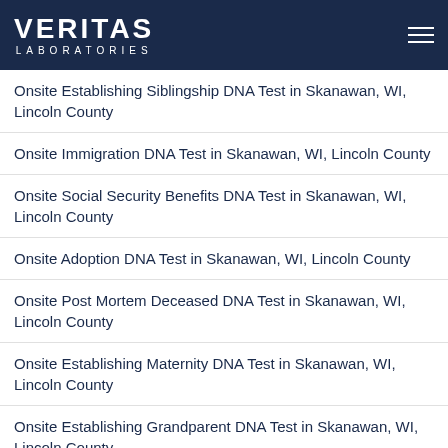VERITAS LABORATORIES
Onsite Establishing Siblingship DNA Test in Skanawan, WI, Lincoln County
Onsite Immigration DNA Test in Skanawan, WI, Lincoln County
Onsite Social Security Benefits DNA Test in Skanawan, WI, Lincoln County
Onsite Adoption DNA Test in Skanawan, WI, Lincoln County
Onsite Post Mortem Deceased DNA Test in Skanawan, WI, Lincoln County
Onsite Establishing Maternity DNA Test in Skanawan, WI, Lincoln County
Onsite Establishing Grandparent DNA Test in Skanawan, WI, Lincoln County
Onsite Immigration DNA Test in Skanawan, WI, Lincoln County
Onsite Adoption Siblingship DNA Test in Skanawan, WI, Lincoln County